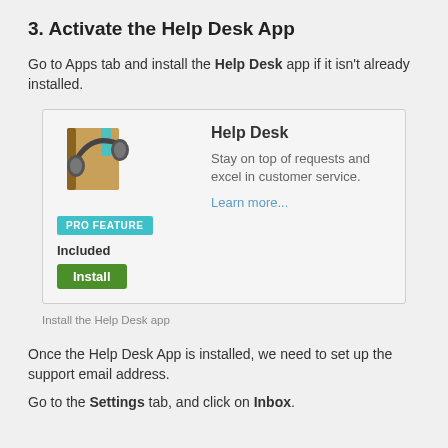3. Activate the Help Desk App
Go to Apps tab and install the Help Desk app if it isn't already installed.
[Figure (screenshot): Screenshot of the Help Desk app card showing a book with headset icon, PRO FEATURE badge, Included label, Install button, app name 'Help Desk', description 'Stay on top of requests and excel in customer service.', and 'Learn more...' link.]
Install the Help Desk app
Once the Help Desk App is installed, we need to set up the support email address.
Go to the Settings tab, and click on Inbox.